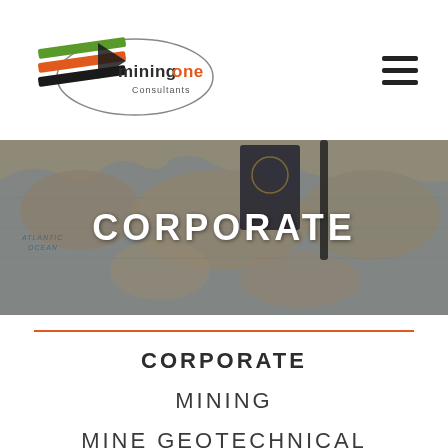[Figure (logo): Mining One Consultants logo with green, orange and black diagonal stripes and oval outline]
[Figure (photo): World map with passport and pen, overlaid with CORPORATE text banner]
CORPORATE
CORPORATE
MINING
MINE GEOTECHNICAL
GEOLOGY